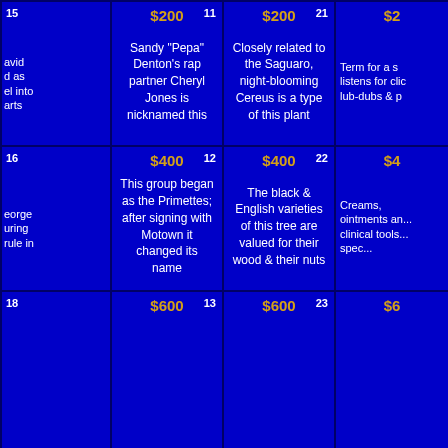| 15 | $200 | 11 | $200 | 21 | $2... |
| (partial left text) | Sandy "Pepa" Denton's rap partner Cheryl Jones is nicknamed this | Closely related to the Saguaro, night-blooming Cereus is a type of this plant | Term for a s... listens for clic... lub-dubs & ... |
| 16 | $400 | 12 | $400 | 22 | $4... |
| ...eorge ...uring ...rule in | This group began as the Primettes; after signing with Motown it changed its name | The black & English varieties of this tree are valued for their wood & their nuts | Creams, ointments an... clinical tools... spec... |
| 18 | $600 | 13 | $600 | 23 | $6... |